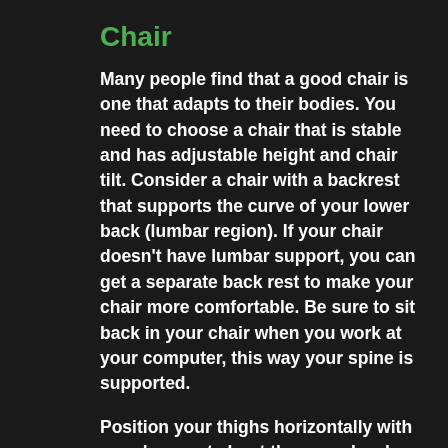Chair
Many people find that a good chair is one that adapts to their bodies. You need to choose a chair that is stable and has adjustable height and chair tilt. Consider a chair with a backrest that supports the curve of your lower back (lumbar region). If your chair doesn't have lumbar support, you can get a separate back rest to make your chair more comfortable. Be sure to sit back in your chair when you work at your computer, this way your spine is supported.
Position your thighs horizontally with your knees at about the same level as your hips. Rest your feet comfortably on the floor or on a footrest if you